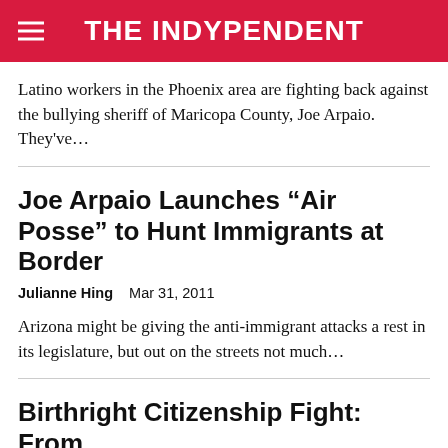THE INDYPENDENT
Latino workers in the Phoenix area are fighting back against the bullying sheriff of Maricopa County, Joe Arpaio. They've…
Joe Arpaio Launches “Air Posse” to Hunt Immigrants at Border
Julianne Hing   Mar 31, 2011
Arizona might be giving the anti-immigrant attacks a rest in its legislature, but out on the streets not much…
Birthright Citizenship Fight: From